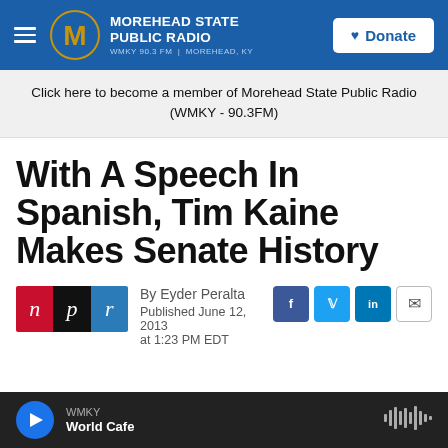Morehead State Public Radio — WMKY 90.3 FM | Morehead, KY — Donate
Click here to become a member of Morehead State Public Radio (WMKY - 90.3FM)
With A Speech In Spanish, Tim Kaine Makes Senate History
[Figure (logo): NPR logo with three colored blocks: red 'n', black 'p', blue 'r']
By Eyder Peralta
Published June 12, 2013 at 1:23 PM EDT
WMKY — World Cafe (audio player bar)